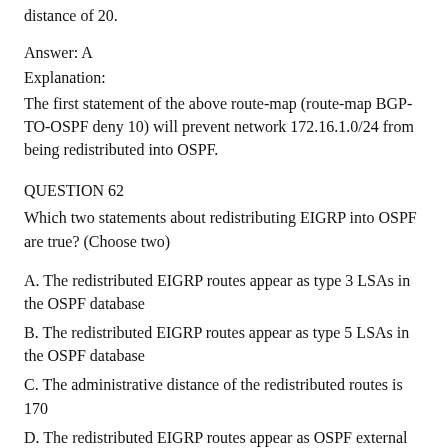distance of 20.
Answer: A
Explanation:
The first statement of the above route-map (route-map BGP-TO-OSPF deny 10) will prevent network 172.16.1.0/24 from being redistributed into OSPF.
QUESTION 62
Which two statements about redistributing EIGRP into OSPF are true? (Choose two)
A. The redistributed EIGRP routes appear as type 3 LSAs in the OSPF database
B. The redistributed EIGRP routes appear as type 5 LSAs in the OSPF database
C. The administrative distance of the redistributed routes is 170
D. The redistributed EIGRP routes appear as OSPF external type 1
E. The redistributed EIGRP routes as placed into an OSPF